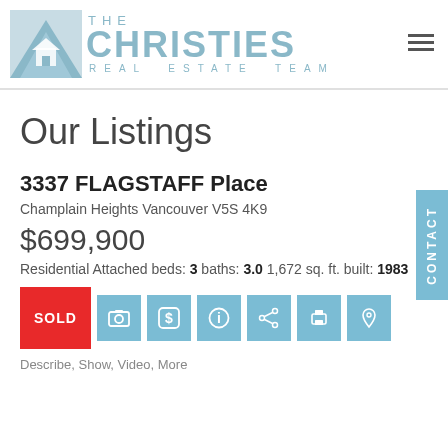[Figure (logo): The Christies Real Estate Team logo with stylized house/mountain icon in light blue]
Our Listings
3337 FLAGSTAFF Place
Champlain Heights Vancouver V5S 4K9
$699,900
Residential Attached beds: 3 baths: 3.0 1,672 sq. ft. built: 1983
SOLD
Describe, Show, Video, More